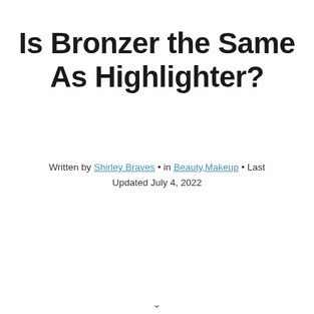Is Bronzer the Same As Highlighter?
Written by Shirley Braves • in Beauty,Makeup • Last Updated July 4, 2022